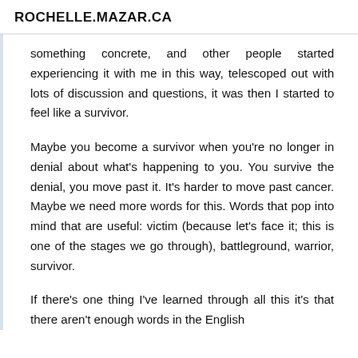ROCHELLE.MAZAR.CA
something concrete, and other people started experiencing it with me in this way, telescoped out with lots of discussion and questions, it was then I started to feel like a survivor.
Maybe you become a survivor when you're no longer in denial about what's happening to you. You survive the denial, you move past it. It's harder to move past cancer. Maybe we need more words for this. Words that pop into mind that are useful: victim (because let's face it; this is one of the stages we go through), battleground, warrior, survivor.
If there's one thing I've learned through all this it's that there aren't enough words in the English